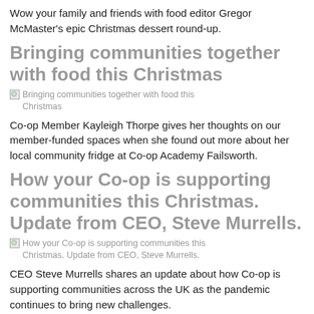Wow your family and friends with food editor Gregor McMaster's epic Christmas dessert round-up.
Bringing communities together with food this Christmas
[Figure (illustration): Broken image placeholder for 'Bringing communities together with food this Christmas']
Co-op Member Kayleigh Thorpe gives her thoughts on our member-funded spaces when she found out more about her local community fridge at Co-op Academy Failsworth.
How your Co-op is supporting communities this Christmas. Update from CEO, Steve Murrells.
[Figure (illustration): Broken image placeholder for 'How your Co-op is supporting communities this Christmas. Update from CEO, Steve Murrells.']
CEO Steve Murrells shares an update about how Co-op is supporting communities across the UK as the pandemic continues to bring new challenges.
Approx 626 words.